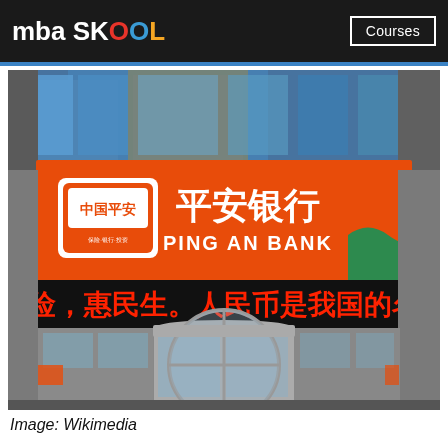mba SKOOL   Courses
[Figure (photo): Exterior photo of a Ping An Bank branch showing the orange signage with Chinese characters 平安银行 and PING AN BANK logo, and a scrolling LED ticker with Chinese text. The entrance features a revolving door.]
Image: Wikimedia